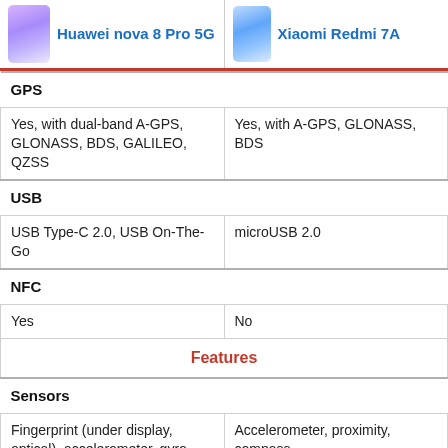Huawei nova 8 Pro 5G vs Xiaomi Redmi 7A
| Huawei nova 8 Pro 5G | Xiaomi Redmi 7A |
| --- | --- |
| GPS |  |
| Yes, with dual-band A-GPS, GLONASS, BDS, GALILEO, QZSS | Yes, with A-GPS, GLONASS, BDS |
| USB |  |
| USB Type-C 2.0, USB On-The-Go | microUSB 2.0 |
| NFC |  |
| Yes | No |
| Features |  |
| Sensors |  |
| Fingerprint (under display, optical), accelerometer, gyro, proximity, compass | Accelerometer, proximity, compass |
| Torch |  |
| Yes | Yes |